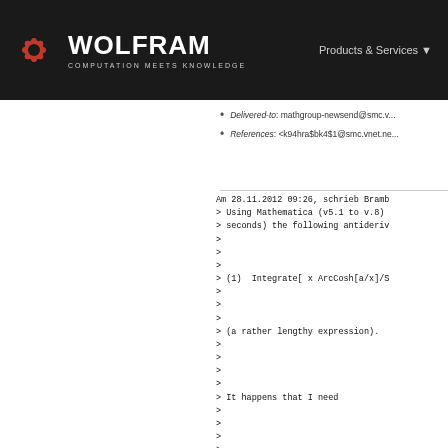WOLFRAM COMPUTATION MEETS KNOWLEDGE | Products & Services
Delivered-to: mathgroup-newsend@smc.v...
References: <k94hra$bk4$1@smc.vnet.ne...
Am 28.11.2012 09:26, schrieb Bramb
> Using Mathematica (v5.1 to v.8)
> seconds) the following antideriv
>
>
>
> (1)  Integrate[ x ArcCosh[a/x]/S
>
>
>
> (a rather lengthy expression).
>
>
>
>
> It happens that I need
>
>
>
>
> (2)  Integrate[ ArcCosh[a/x]/Sqr